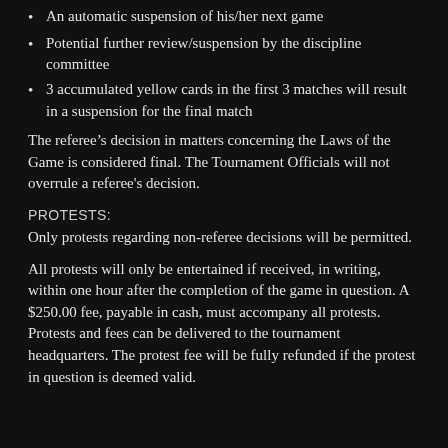An automatic suspension of his/her next game
Potential further review/suspension by the discipline committee
3 accumulated yellow cards in the first 3 matches will result in a suspension for the final match
The referee’s decision in matters concerning the Laws of the Game is considered final. The Tournament Officials will not overrule a referee's decision.
PROTESTS:
Only protests regarding non-referee decisions will be permitted.
All protests will only be entertained if received, in writing, within one hour after the completion of the game in question. A $250.00 fee, payable in cash, must accompany all protests. Protests and fees can be delivered to the tournament headquarters. The protest fee will be fully refunded if the protest in question is deemed valid.